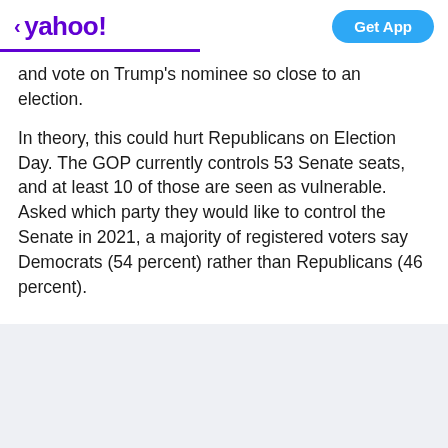yahoo! | Get App
and vote on Trump's nominee so close to an election.
In theory, this could hurt Republicans on Election Day. The GOP currently controls 53 Senate seats, and at least 10 of those are seen as vulnerable. Asked which party they would like to control the Senate in 2021, a majority of registered voters say Democrats (54 percent) rather than Republicans (46 percent).
View comments | Facebook | Twitter | Mail